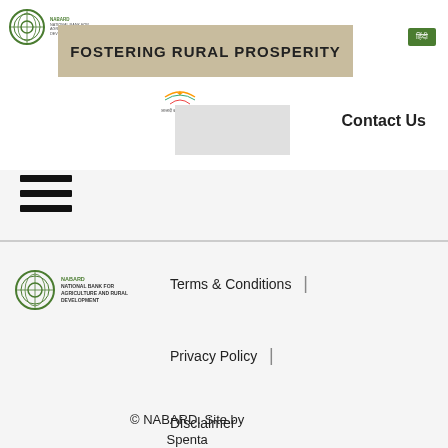[Figure (logo): NABARD logo top left with circular emblem and text]
FOSTERING RURAL PROSPERITY
हिंदी
[Figure (logo): Azadi Ka Amrit Mahotsav India logo]
Contact Us
[Figure (other): Hamburger menu icon (three horizontal lines)]
[Figure (logo): NABARD footer logo - National Bank for Agriculture and Rural Development]
Terms & Conditions
Privacy Policy
Disclaimer
© NABARD. Site by Spenta Multimedia